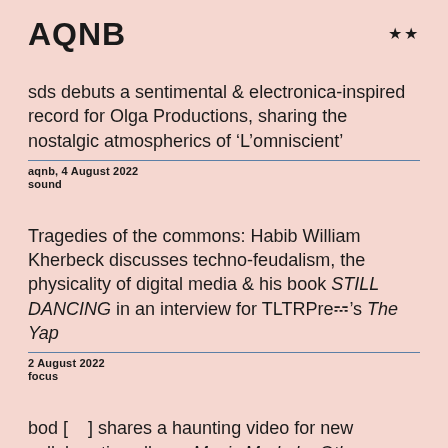AQNB
sds debuts a sentimental & electronica-inspired record for Olga Productions, sharing the nostalgic atmospherics of ‘L’omniscient’
aqnb, 4 August 2022
sound
Tragedies of the commons: Habib William Kherbeck discusses techno-feudalism, the physicality of digital media & his book STILL DANCING in an interview for TLTRPreB’s The Yap
2 August 2022
focus
bod [    ] shares a haunting video for new collaborative album, Music Made by Other People, supported by angelicism01